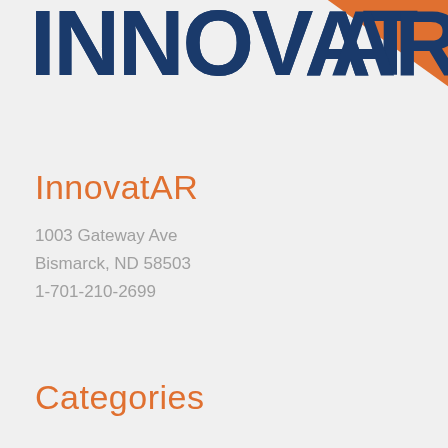[Figure (logo): InnovatAR company logo — bold dark blue letters 'INNOVAT' with a large orange triangle/arrow shape forming the 'AR' portion, cropped at top of page]
InnovatAR
1003 Gateway Ave
Bismarck, ND 58503
1-701-210-2699
Categories